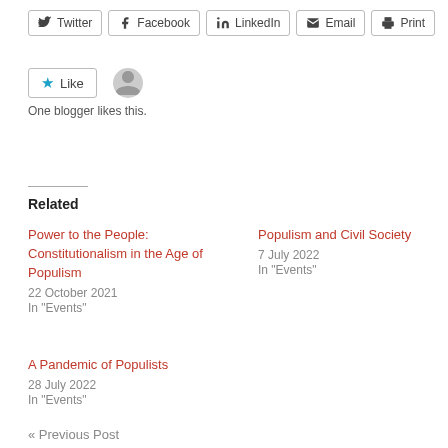[Figure (other): Social share buttons: Twitter, Facebook, LinkedIn, Email, Print]
[Figure (other): Like button with star icon, avatar placeholder, and text 'One blogger likes this.']
Related
Power to the People: Constitutionalism in the Age of Populism
22 October 2021
In "Events"
Populism and Civil Society
7 July 2022
In "Events"
A Pandemic of Populists
28 July 2022
In "Events"
« Previous Post